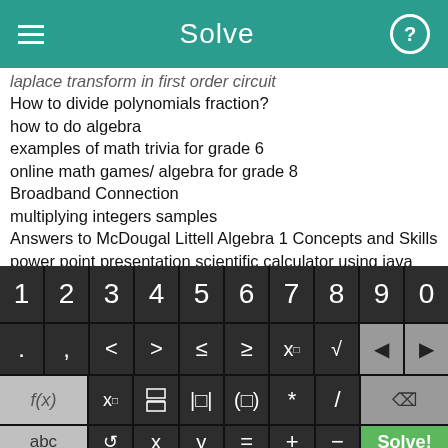Solve
laplace transform in first order circuit
How to divide polynomials fraction?
how to do algebra
examples of math trivia for grade 6
online math games/ algebra for grade 8
Broadband Connection
multiplying integers samples
Answers to McDougal Littell Algebra 1 Concepts and Skills
power point presentation scientific calculator using java
online introductory algebra
6th grade math print outs
[Figure (screenshot): On-screen math keyboard with three rows: digits 1-9 0, symbols . , < > ≤ ≥ x^□ √□ and arrow keys, function keys f(x) x_□ fraction absolute-value parentheses * / and backspace, bottom row abc ↺ x y = + − and green Solve! button]